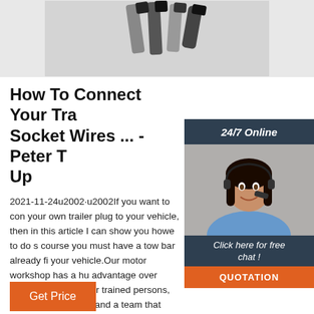[Figure (photo): Photo of hex key sockets or trailer plug connectors viewed from above, gray background]
How To Connect Your Trailer Socket Wires ... - Peter T Up
2021-11-24u2002·u2002If you want to connect your own trailer plug to your vehicle, then in this article I can show you howe to do so. Of course you must have a tow bar already fitted to your vehicle.Our motor workshop has a huge advantage over other as it has proper trained persons, years of experience and a team that works together to get the job done properly using the latest diagnostic equipment and tools.
[Figure (photo): Customer service representative woman wearing headset, smiling, with 24/7 Online banner and chat/quotation call-to-action overlay]
Get Price